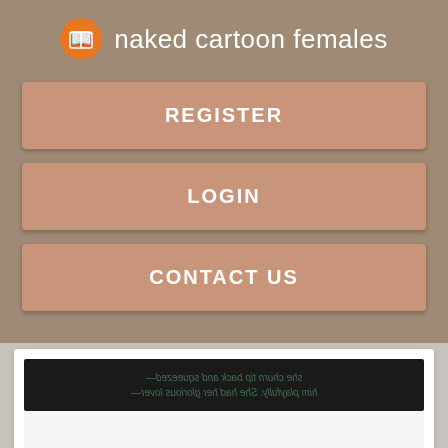naked cartoon females
REGISTER
LOGIN
CONTACT US
[Figure (screenshot): Partial screenshot of a web page showing a dark image with mirrored green italic text overlay]